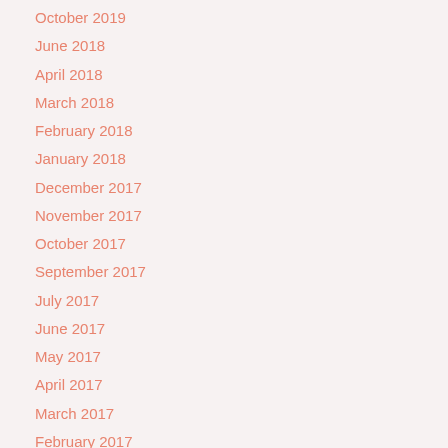October 2019
June 2018
April 2018
March 2018
February 2018
January 2018
December 2017
November 2017
October 2017
September 2017
July 2017
June 2017
May 2017
April 2017
March 2017
February 2017